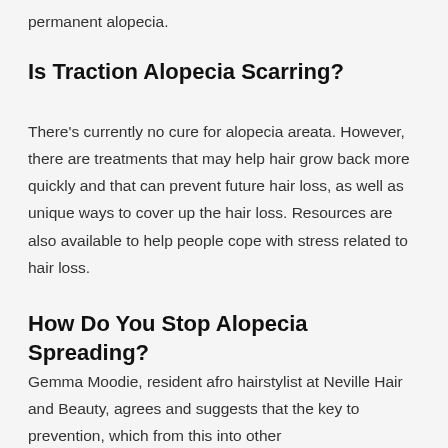permanent alopecia.
Is Traction Alopecia Scarring?
There's currently no cure for alopecia areata. However, there are treatments that may help hair grow back more quickly and that can prevent future hair loss, as well as unique ways to cover up the hair loss. Resources are also available to help people cope with stress related to hair loss.
How Do You Stop Alopecia Spreading?
Gemma Moodie, resident afro hairstylist at Neville Hair and Beauty, agrees and suggests that the key to prevention, which from this into other